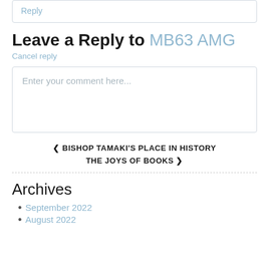Reply
Leave a Reply to MB63 AMG
Cancel reply
Enter your comment here...
< BISHOP TAMAKI'S PLACE IN HISTORY
THE JOYS OF BOOKS >
Archives
September 2022
August 2022